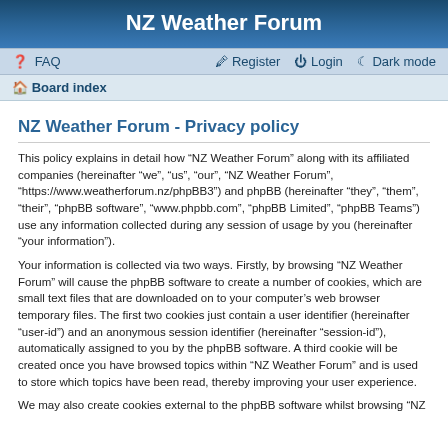NZ Weather Forum
FAQ   Register   Login   Dark mode
Board index
NZ Weather Forum - Privacy policy
This policy explains in detail how “NZ Weather Forum” along with its affiliated companies (hereinafter “we”, “us”, “our”, “NZ Weather Forum”, “https://www.weatherforum.nz/phpBB3”) and phpBB (hereinafter “they”, “them”, “their”, “phpBB software”, “www.phpbb.com”, “phpBB Limited”, “phpBB Teams”) use any information collected during any session of usage by you (hereinafter “your information”).
Your information is collected via two ways. Firstly, by browsing “NZ Weather Forum” will cause the phpBB software to create a number of cookies, which are small text files that are downloaded on to your computer’s web browser temporary files. The first two cookies just contain a user identifier (hereinafter “user-id”) and an anonymous session identifier (hereinafter “session-id”), automatically assigned to you by the phpBB software. A third cookie will be created once you have browsed topics within “NZ Weather Forum” and is used to store which topics have been read, thereby improving your user experience.
We may also create cookies external to the phpBB software whilst browsing “NZ